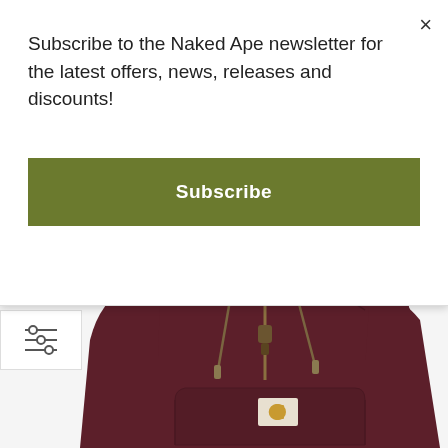Subscribe to the Naked Ape newsletter for the latest offers, news, releases and discounts!
Subscribe
[Figure (photo): Carhartt dark burgundy/wine colored full-zip hoodie sweatshirt with hood up, gold zipper hardware, kangaroo pocket with Carhartt patch logo, on white background. Carhartt label visible at chest.]